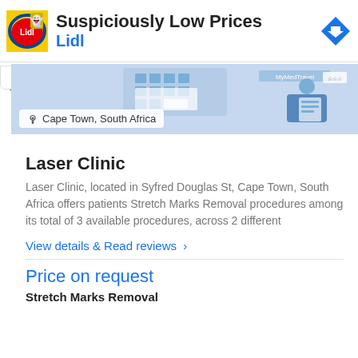[Figure (screenshot): Advertisement banner for Lidl: 'Suspiciously Low Prices' with Lidl logo and navigation arrow icon]
[Figure (illustration): MyMedTravel hero banner showing a blue illustrated medical travel scene with location tag 'Cape Town, South Africa']
Laser Clinic
Laser Clinic, located in Syfred Douglas St, Cape Town, South Africa offers patients Stretch Marks Removal procedures among its total of 3 available procedures, across 2 different
View details & Read reviews >
Price on request
Stretch Marks Removal